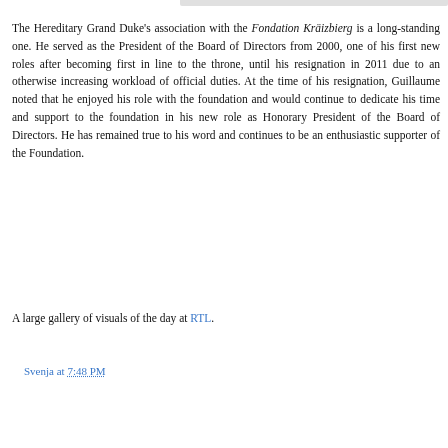The Hereditary Grand Duke's association with the Fondation Kräizbierg is a long-standing one. He served as the President of the Board of Directors from 2000, one of his first new roles after becoming first in line to the throne, until his resignation in 2011 due to an otherwise increasing workload of official duties. At the time of his resignation, Guillaume noted that he enjoyed his role with the foundation and would continue to dedicate his time and support to the foundation in his new role as Honorary President of the Board of Directors. He has remained true to his word and continues to be an enthusiastic supporter of the Foundation.
A large gallery of visuals of the day at RTL.
Svenja at 7:48 PM
Share